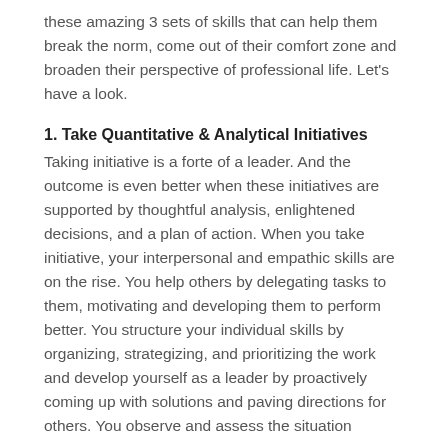these amazing 3 sets of skills that can help them break the norm, come out of their comfort zone and broaden their perspective of professional life. Let's have a look.
1. Take Quantitative & Analytical Initiatives
Taking initiative is a forte of a leader. And the outcome is even better when these initiatives are supported by thoughtful analysis, enlightened decisions, and a plan of action. When you take initiative, your interpersonal and empathic skills are on the rise. You help others by delegating tasks to them, motivating and developing them to perform better. You structure your individual skills by organizing, strategizing, and prioritizing the work and develop yourself as a leader by proactively coming up with solutions and paving directions for others. You observe and assess the situation